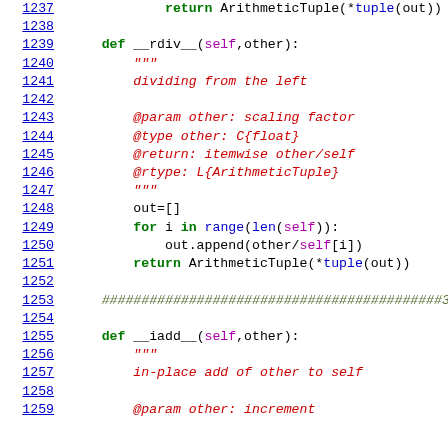Source code listing lines 1237-1259, Python code for ArithmeticTuple class methods __rdiv__ and __iadd__